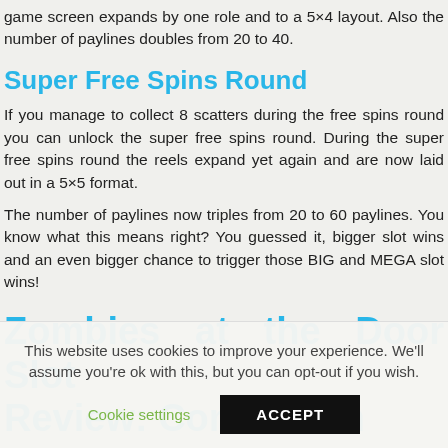game screen expands by one role and to a 5×4 layout. Also the number of paylines doubles from 20 to 40.
Super Free Spins Round
If you manage to collect 8 scatters during the free spins round you can unlock the super free spins round. During the super free spins round the reels expand yet again and are now laid out in a 5×5 format.
The number of paylines now triples from 20 to 60 paylines. You know what this means right? You guessed it, bigger slot wins and an even bigger chance to trigger those BIG and MEGA slot wins!
Zombies at the Door Slot Review: Conclusion
This website uses cookies to improve your experience. We'll assume you're ok with this, but you can opt-out if you wish.
Cookie settings  ACCEPT